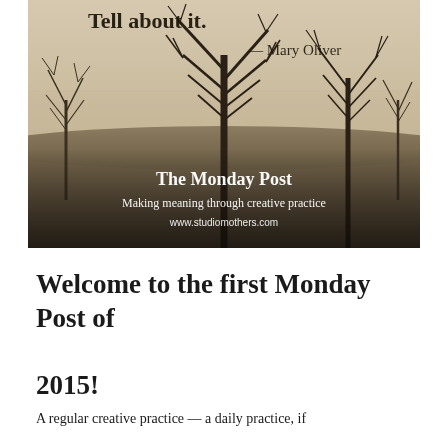[Figure (photo): Sepia-toned photograph of bare winter birch trees in a field under a misty sky. Overlaid text reads: 'Tell about it.' and '— Mary Oliver' at the top, and 'The Monday Post / Making meaning through creative practice / www.studiomothers.com' at the bottom.]
Welcome to the first Monday Post of 2015!
A regular creative practice — a daily practice, if